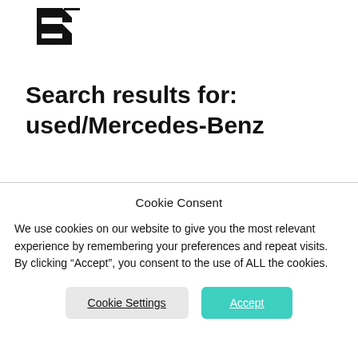[Figure (logo): Partial logo showing a black angular 'B' letter mark, cropped at top]
Search results for: used/Mercedes-Benz
Cookie Consent
We use cookies on our website to give you the most relevant experience by remembering your preferences and repeat visits. By clicking “Accept”, you consent to the use of ALL the cookies.
Cookie Settings | Accept